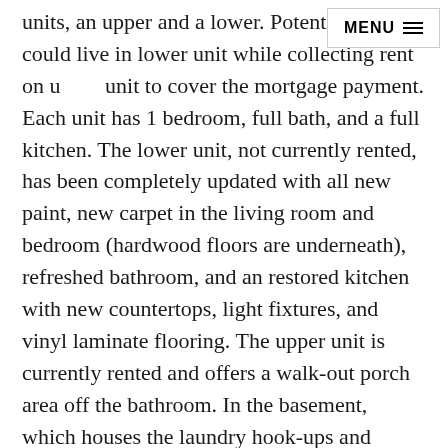units, an upper and a lower. Potential buyer could live in lower unit while collecting rent on upper unit to cover the mortgage payment. Each unit has 1 bedroom, full bath, and a full kitchen. The lower unit, not currently rented, has been completely updated with all new paint, new carpet in the living room and bedroom (hardwood floors are underneath), refreshed bathroom, and an restored kitchen with new countertops, light fixtures, and vinyl laminate flooring. The upper unit is currently rented and offers a walk-out porch area off the bathroom. In the basement, which houses the laundry hook-ups and additional storage for the renters, there are 2 furnaces, 2 water heaters (1 brand new), and separate electric panels. *Multiple offers received. All offers to be submitted by 8am on Friday, May 27th, per seller's request*